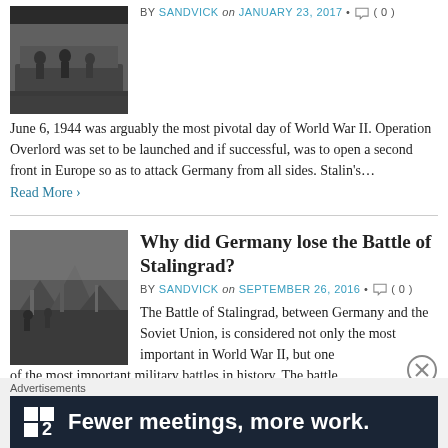[Figure (photo): Black and white WWII D-Day landing craft photo with soldiers]
BY SANDVICK on JANUARY 23, 2017 • (0)
June 6, 1944 was arguably the most pivotal day of World War II. Operation Overlord was set to be launched and if successful, was to open a second front in Europe so as to attack Germany from all sides. Stalin's…
Read More ›
[Figure (photo): Black and white photo of the Battle of Stalingrad with soldiers in rubble]
Why did Germany lose the Battle of Stalingrad?
BY SANDVICK on SEPTEMBER 26, 2016 • (0)
The Battle of Stalingrad, between Germany and the Soviet Union, is considered not only the most important in World War II, but one of the most important military battles in history. The battle…
Advertisements
[Figure (other): Advertisement banner: Plan icon with number 2, text 'Fewer meetings, more work.']